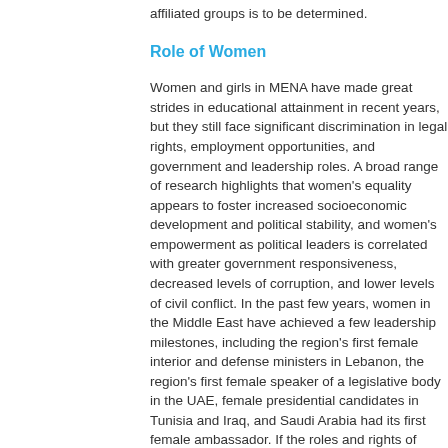affiliated groups is to be determined.
Role of Women
Women and girls in MENA have made great strides in educational attainment in recent years, but they still face significant discrimination in legal rights, employment opportunities, and government and leadership roles. A broad range of research highlights that women's equality appears to foster increased socioeconomic development and political stability, and women's empowerment as political leaders is correlated with greater government responsiveness, decreased levels of corruption, and lower levels of civil conflict. In the past few years, women in the Middle East have achieved a few leadership milestones, including the region's first female interior and defense ministers in Lebanon, the region's first female speaker of a legislative body in the UAE, female presidential candidates in Tunisia and Iraq, and Saudi Arabia had its first female ambassador. If the roles and rights of women improve significantly in the next few